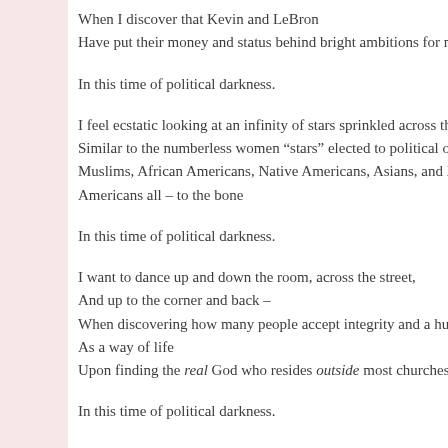When I discover that Kevin and LeBron
Have put their money and status behind bright ambitions for min
In this time of political darkness.
I feel ecstatic looking at an infinity of stars sprinkled across the n
Similar to the numberless women “stars” elected to political offi
Muslims, African Americans, Native Americans, Asians, and His
Americans all – to the bone
In this time of political darkness.
I want to dance up and down the room, across the street,
And up to the corner and back –
When discovering how many people accept integrity and a hunge
As a way of life
Upon finding the real God who resides outside most churches an
In this time of political darkness.